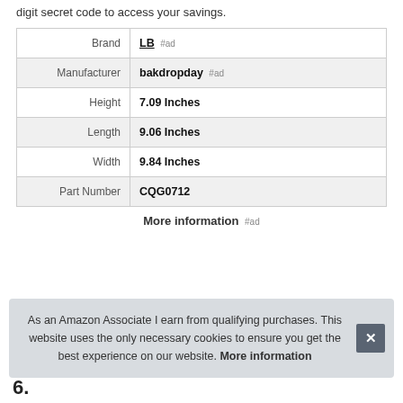digit secret code to access your savings.
|  |  |
| --- | --- |
| Brand | LB #ad |
| Manufacturer | bakdropday #ad |
| Height | 7.09 Inches |
| Length | 9.06 Inches |
| Width | 9.84 Inches |
| Part Number | CQG0712 |
More information #ad
As an Amazon Associate I earn from qualifying purchases. This website uses the only necessary cookies to ensure you get the best experience on our website. More information
6.